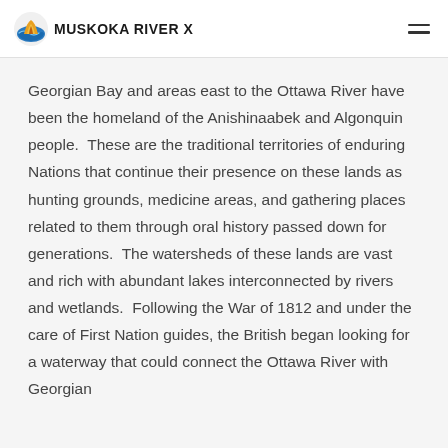MUSKOKA RIVER X
Georgian Bay and areas east to the Ottawa River have been the homeland of the Anishinaabek and Algonquin people.  These are the traditional territories of enduring Nations that continue their presence on these lands as hunting grounds, medicine areas, and gathering places related to them through oral history passed down for generations.  The watersheds of these lands are vast and rich with abundant lakes interconnected by rivers and wetlands.  Following the War of 1812 and under the care of First Nation guides, the British began looking for a waterway that could connect the Ottawa River with Georgian